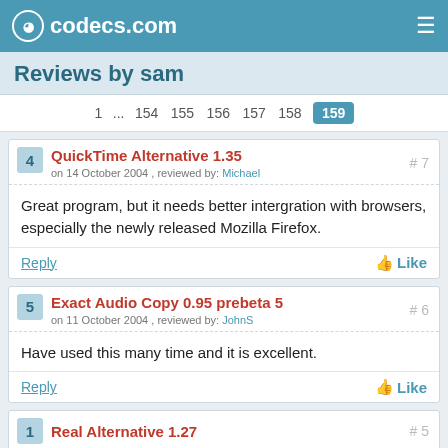codecs.com
Reviews by sam
1 ... 154 155 156 157 158 159
QuickTime Alternative 1.35
on 14 October 2004 , reviewed by: Michael
Great program, but it needs better intergration with browsers, especially the newly released Mozilla Firefox.
Reply  Like
Exact Audio Copy 0.95 prebeta 5
on 11 October 2004 , reviewed by: JohnS
Have used this many time and it is excellent.
Reply  Like
Real Alternative 1.27